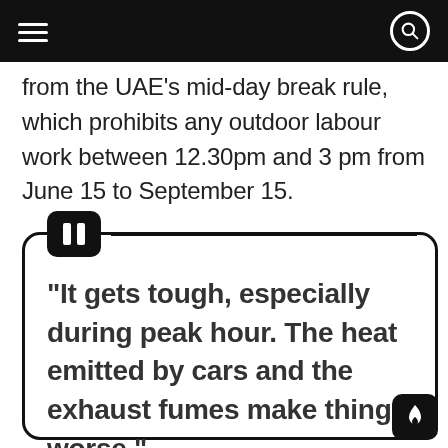[navigation bar with hamburger menu and search icon]
from the UAE's mid-day break rule, which prohibits any outdoor labour work between 12.30pm and 3 pm from June 15 to September 15.
“It gets tough, especially during peak hour. The heat emitted by cars and the exhaust fumes make things worse,”